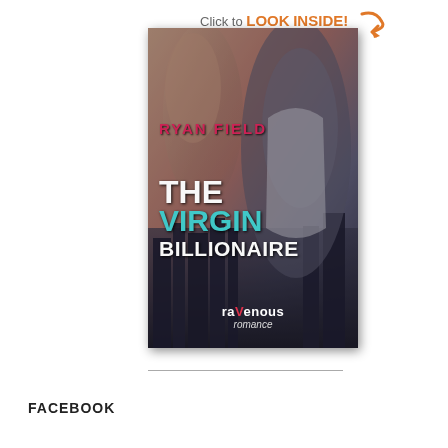[Figure (photo): Book cover for 'The Virgin Billionaire' by Ryan Field, published by Ravenous Romance. Cover shows two male figures against a city skyline background. Title text in white and teal, author name in pink/red. 'Click to LOOK INSIDE!' banner with orange arrow at top.]
FACEBOOK